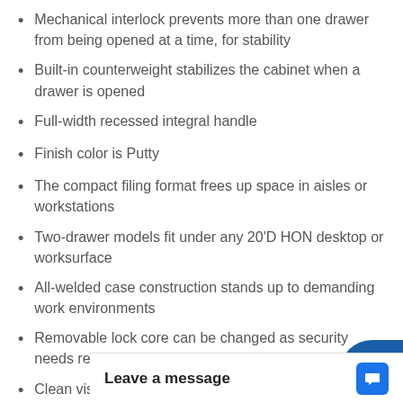Mechanical interlock prevents more than one drawer from being opened at a time, for stability
Built-in counterweight stabilizes the cabinet when a drawer is opened
Full-width recessed integral handle
Finish color is Putty
The compact filing format frees up space in aisles or workstations
Two-drawer models fit under any 20'D HON desktop or worksurface
All-welded case construction stands up to demanding work environments
Removable lock core can be changed as security needs require
Clean visual design that complements open offices, private offices or central records management are
Made in the USA